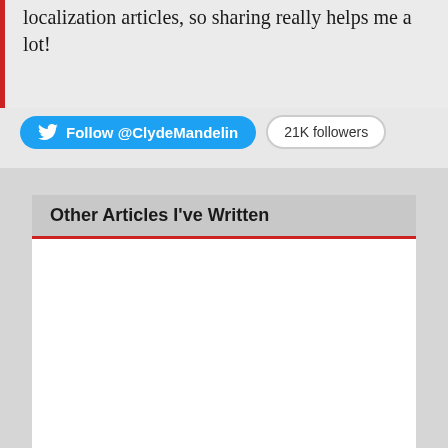localization articles, so sharing really helps me a lot!
[Figure (other): Twitter Follow button for @ClydeMandelin with blue rounded pill shape containing Twitter bird icon and text 'Follow @ClydeMandelin', alongside a '21K followers' badge with rounded rectangle border]
Other Articles I've Written